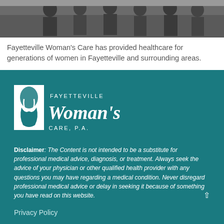[Figure (photo): Group photo of medical professionals/women at Fayetteville Woman's Care]
Fayetteville Woman's Care has provided healthcare for generations of women in Fayetteville and surrounding areas.
[Figure (logo): Fayetteville Woman's Care P.A. logo — white text and swirl design on teal background]
Disclaimer: The Content is not intended to be a substitute for professional medical advice, diagnosis, or treatment. Always seek the advice of your physician or other qualified health provider with any questions you may have regarding a medical condition. Never disregard professional medical advice or delay in seeking it because of something you have read on this website.
Privacy Policy